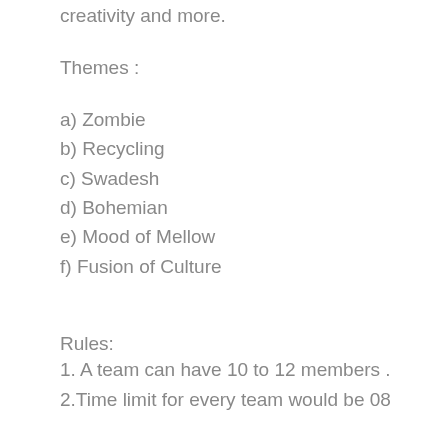creativity and more.
Themes :
a) Zombie
b) Recycling
c) Swadesh
d) Bohemian
e) Mood of Mellow
f) Fusion of Culture
Rules:
1. A team can have 10 to 12 members .
2.Time limit for every team would be 08